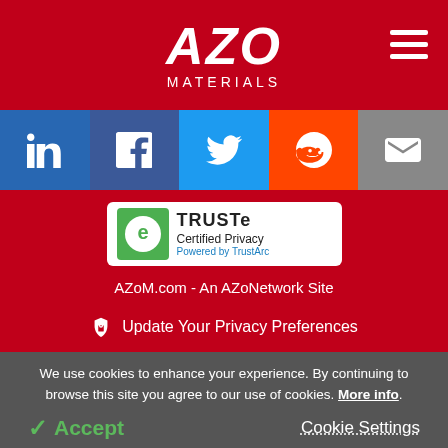[Figure (logo): AZO Materials logo in white on red background with hamburger menu icon]
[Figure (infographic): Social media icons bar: LinkedIn, Facebook, Twitter, Reddit, Email]
[Figure (other): TRUSTe Certified Privacy badge - Powered by TrustArc]
AZoM.com - An AZoNetwork Site
Owned and operated by AZoNetwork, © 2000-2022
Update Your Privacy Preferences
We use cookies to enhance your experience. By continuing to browse this site you agree to our use of cookies. More info.
✓ Accept
Cookie Settings